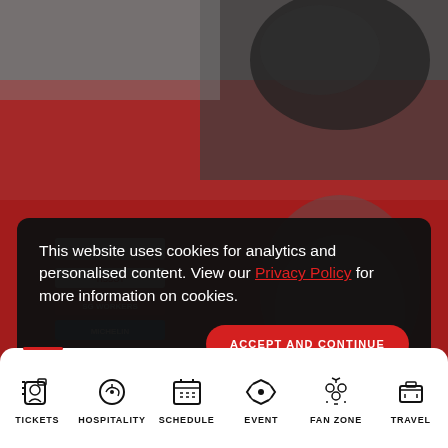[Figure (photo): Close-up photo of a MotoGP or motorcycle racing rider in red race suit with sponsor patches (Flexbox, Dainese, Michelin, SG, etc.) and black gloves, helmet partially visible at top]
This website uses cookies for analytics and personalised content. View our Privacy Policy for more information on cookies.
ACCEPT AND CONTINUE
NEWS 03/05/2021
TICKETS
HOSPITALITY
SCHEDULE
EVENT
FAN ZONE
TRAVEL